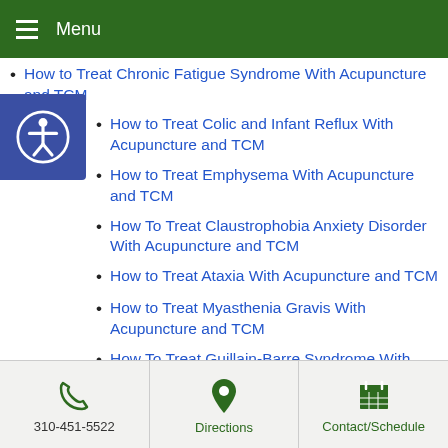Menu
How to Treat Chronic Fatigue Syndrome With Acupuncture and TCM
How to Treat Colic and Infant Reflux With Acupuncture and TCM
How to Treat Emphysema With Acupuncture and TCM
How To Treat Claustrophobia Anxiety Disorder With Acupuncture and TCM
How to Treat Ataxia With Acupuncture and TCM
How to Treat Myasthenia Gravis With Acupuncture and TCM
How To Treat Guillain-Barre Syndrome With Acupuncture and TCM
310-451-5522  Directions  Contact/Schedule